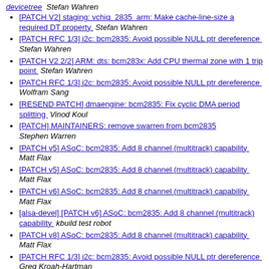devicetree  Stefan Wahren
[PATCH V2] staging: vchiq 2835 arm: Make cache-line-size a required DT property  Stefan Wahren
[PATCH RFC 1/3] i2c: bcm2835: Avoid possible NULL ptr dereference  Stefan Wahren
[PATCH V2 2/2] ARM: dts: bcm283x: Add CPU thermal zone with 1 trip point  Stefan Wahren
[PATCH RFC 1/3] i2c: bcm2835: Avoid possible NULL ptr dereference  Wolfram Sang
[RESEND PATCH] dmaengine: bcm2835: Fix cyclic DMA period splitting  Vinod Koul
[PATCH] MAINTAINERS: remove swarren from bcm2835  Stephen Warren
[PATCH v5] ASoC: bcm2835: Add 8 channel (multitrack) capability  Matt Flax
[PATCH v5] ASoC: bcm2835: Add 8 channel (multitrack) capability  Matt Flax
[PATCH v6] ASoC: bcm2835: Add 8 channel (multitrack) capability  Matt Flax
[alsa-devel] [PATCH v6] ASoC: bcm2835: Add 8 channel (multitrack) capability  kbuild test robot
[PATCH v8] ASoC: bcm2835: Add 8 channel (multitrack) capability  Matt Flax
[PATCH RFC 1/3] i2c: bcm2835: Avoid possible NULL ptr dereference  Greg Kroah-Hartman